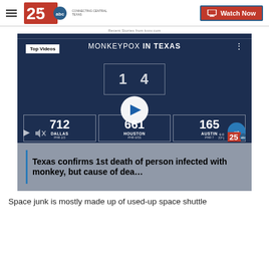KXXV 25 ABC Connecting Central Texas — Watch Now
Recent Stories from kxxv.com
[Figure (screenshot): Video thumbnail showing Monkeypox in Texas news segment with statistics: Dallas 712, Houston 661, Austin 165. Play button overlay. Caption: Texas confirms 1st death of person infected with monkey, but cause of dea...]
Space junk is mostly made up of used-up space shuttle